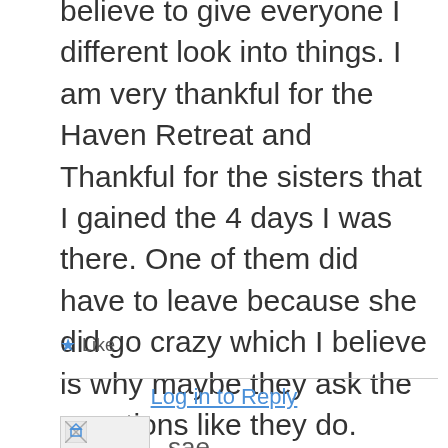believe to give everyone I different look into things. I am very thankful for the Haven Retreat and Thankful for the sisters that I gained the 4 days I was there. One of them did have to leave because she did go crazy which I believe is why maybe they ask the questions like they do. Everyone I came in contact with when there was loving, caring and helpful and for that I am thankful.
★ Like
Log in to Reply
[Figure (other): Small avatar/profile image placeholder with a broken image icon]
sae